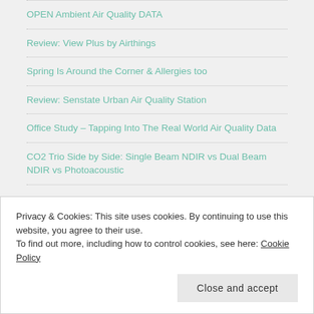OPEN Ambient Air Quality DATA
Review: View Plus by Airthings
Spring Is Around the Corner & Allergies too
Review: Senstate Urban Air Quality Station
Office Study – Tapping Into The Real World Air Quality Data
CO2 Trio Side by Side: Single Beam NDIR vs Dual Beam NDIR vs Photoacoustic
Privacy & Cookies: This site uses cookies. By continuing to use this website, you agree to their use.
To find out more, including how to control cookies, see here: Cookie Policy
Close and accept